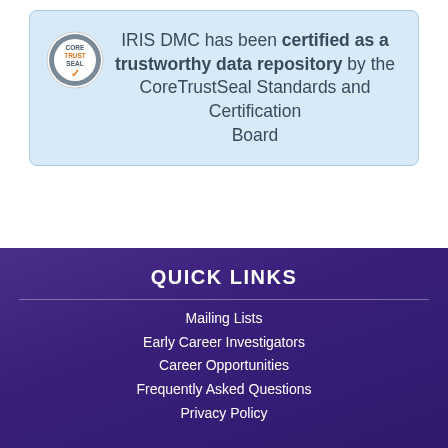[Figure (logo): CoreTrustSeal logo — circular badge with CORE TRUST SEAL V text and orange/grey colors]
IRIS DMC has been certified as a trustworthy data repository by the CoreTrustSeal Standards and Certification Board
QUICK LINKS
Mailing Lists
Early Career Investigators
Career Opportunities
Frequently Asked Questions
Privacy Policy